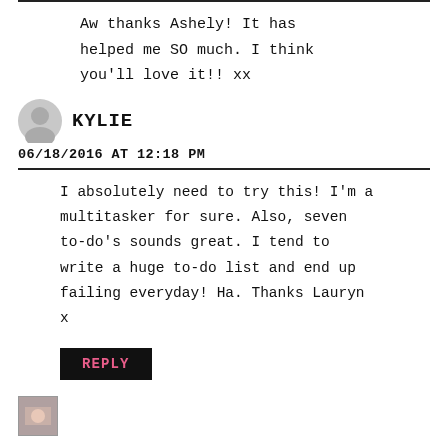Aw thanks Ashely! It has helped me SO much. I think you'll love it!! xx
KYLIE
06/18/2016 AT 12:18 PM
I absolutely need to try this! I'm a multitasker for sure. Also, seven to-do's sounds great. I tend to write a huge to-do list and end up failing everyday! Ha. Thanks Lauryn x
REPLY
[Figure (photo): Small avatar image at the bottom of the page]